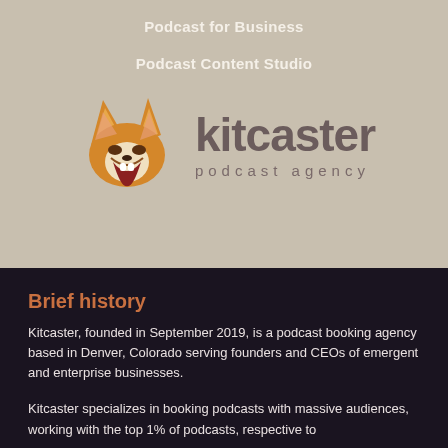Podcast for Business
Podcast Content Studio
[Figure (logo): Kitcaster podcast agency logo — a stylized fox head (orange/white/brown) with mouth open, beside the text 'kitcaster' in large dark brown letters and 'podcast agency' in smaller spaced letters below]
Brief history
Kitcaster, founded in September 2019, is a podcast booking agency based in Denver, Colorado serving founders and CEOs of emergent and enterprise businesses.
Kitcaster specializes in booking podcasts with massive audiences, working with the top 1% of podcasts, respective to